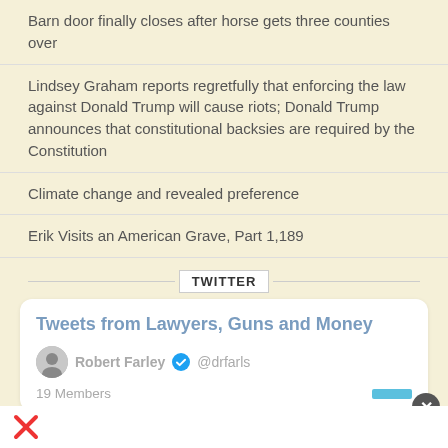Barn door finally closes after horse gets three counties over
Lindsey Graham reports regretfully that enforcing the law against Donald Trump will cause riots; Donald Trump announces that constitutional backsies are required by the Constitution
Climate change and revealed preference
Erik Visits an American Grave, Part 1,189
TWITTER
[Figure (screenshot): Twitter widget card showing 'Tweets from Lawyers, Guns and Money' list by Robert Farley @drfarls with verified badge, 19 Members, and a blue follow button. A close (×) button appears at bottom right.]